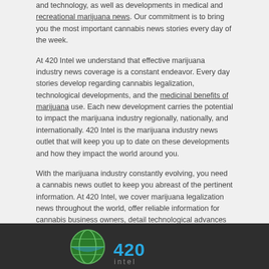and technology, as well as developments in medical and recreational marijuana news. Our commitment is to bring you the most important cannabis news stories every day of the week.
At 420 Intel we understand that effective marijuana industry news coverage is a constant endeavor. Every day stories develop regarding cannabis legalization, technological developments, and the medicinal benefits of marijuana use. Each new development carries the potential to impact the marijuana industry regionally, nationally, and internationally. 420 Intel is the marijuana industry news outlet that will keep you up to date on these developments and how they impact the world around you.
With the marijuana industry constantly evolving, you need a cannabis news outlet to keep you abreast of the pertinent information. At 420 Intel, we cover marijuana legalization news throughout the world, offer reliable information for cannabis business owners, detail technological advances that impact the marijuana industry, cover marijuana rallies from across the globe, and everything in between.
You can get 420 Intel news delivered directly to your inbox by signing up for our daily marijuana news, ensuring you're always kept up to date on the ever-changing cannabis industry. To stay even better informed about marijuana legalization news follow us on Twitter, Facebook and LinkedIn.
[Figure (logo): 420 Intel logo on dark background with globe icon]